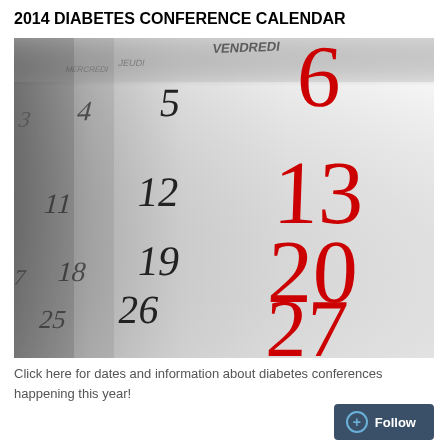2014 DIABETES CONFERENCE CALENDAR
[Figure (photo): Close-up perspective photo of a paper wall calendar showing days of the month. Black numbers for weekdays (3, 4, 5, 11, 12, 18, 19, 25, 26, 31) and red numbers for Fridays (6, 13, 20, 27). French day headers visible including VENDREDI. Calendar has a white/grey gradient background.]
Click here for dates and information about diabetes conferences happening this year!